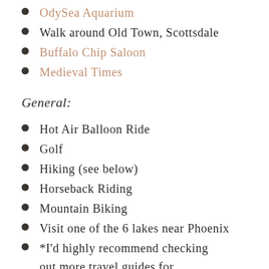OdySea Aquarium
Walk around Old Town, Scottsdale
Buffalo Chip Saloon
Medieval Times
General:
Hot Air Balloon Ride
Golf
Hiking (see below)
Horseback Riding
Mountain Biking
Visit one of the 6 lakes near Phoenix
*I'd highly recommend checking out more travel guides for